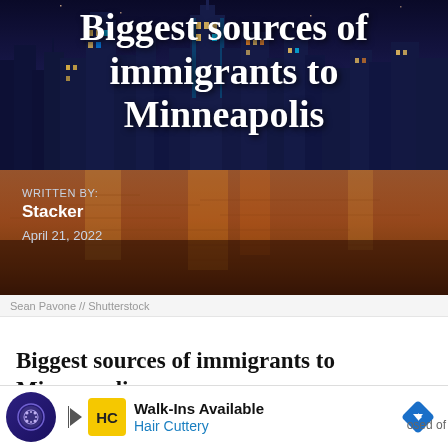[Figure (photo): City skyline at night reflected on water, used as hero banner background image for article about immigrants to Minneapolis]
Biggest sources of immigrants to Minneapolis
WRITTEN BY:
Stacker
April 21, 2022
Sean Pavone // Shutterstock
Biggest sources of immigrants to Minneapolis
[Figure (other): Advertisement banner: Walk-Ins Available, Hair Cuttery]